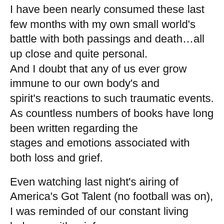I have been nearly consumed these last few months with my own small world's battle with both passings and death…all up close and quite personal. And I doubt that any of us ever grow immune to our own body's and spirit's reactions to such traumatic events. As countless numbers of books have long been written regarding the stages and emotions associated with both loss and grief.

Even watching last night's airing of America's Got Talent (no football was on), I was reminded of our constant living balance with grief.

The 13 year old singing contestant Evie Clair, from a tiny town in Arizona,